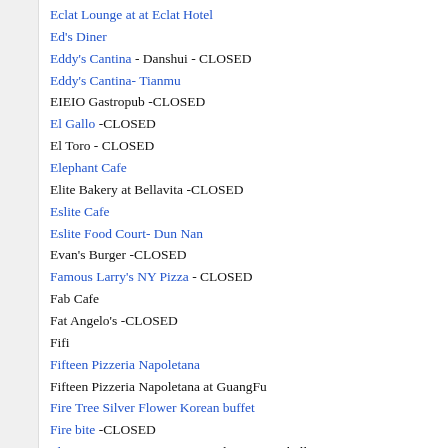Eclat Lounge at at Eclat Hotel
Ed's Diner
Eddy's Cantina - Danshui - CLOSED
Eddy's Cantina- Tianmu
EIEIO Gastropub -CLOSED
El Gallo -CLOSED
El Toro - CLOSED
Elephant Cafe
Elite Bakery at Bellavita -CLOSED
Eslite Cafe
Eslite Food Court- Dun Nan
Evan's Burger -CLOSED
Famous Larry's NY Pizza - CLOSED
Fab Cafe
Fat Angelo's -CLOSED
Fifi
Fifteen Pizzeria Napoletana
Fifteen Pizzeria Napoletana at GuangFu
Fire Tree Silver Flower Korean buffet
Fire bite -CLOSED
Flavors - MOVED 2016 now: Flavors Meatball Bistro